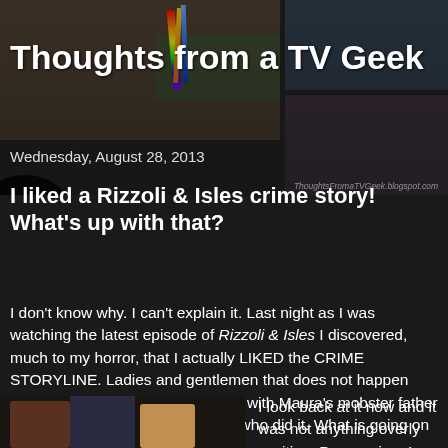[Figure (photo): Blog header collage of TV show images including cast photos and scenes, with colorful pencils/pens in top left corner]
Thoughts from a TV Geek
Wednesday, August 28, 2013
I liked a Rizzoli & Isles crime story! What's up with that?
I don't know why. I can't explain it. Last night as I was watching the latest episode of Rizzoli & Isles I discovered, much to my horror, that I actually LIKED the CRIME STORYLINE. Ladies and gentlemen that does not happen with this show! Unless it has to do with Maura's mobster father I don't care about the murder nor who did it. What is going on here??
[Figure (photo): Scene from Rizzoli & Isles showing two female characters]
I look back at it now and it was not anything overly exciting. Drag racing. I don't